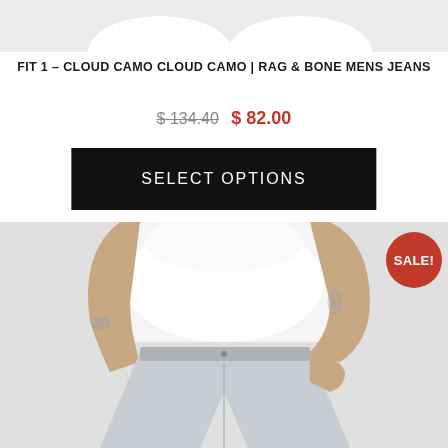[Figure (photo): Top partial view of white sneakers/shoes on light gray background]
FIT 1 – CLOUD CAMO CLOUD CAMO | RAG & BONE MENS JEANS
$ 134.40  $ 82.00
SELECT OPTIONS
[Figure (photo): Male model wearing light gray slim-fit jeans and white t-shirt, showing torso and legs with tattoos visible, with a red SALE! badge in the upper right corner]